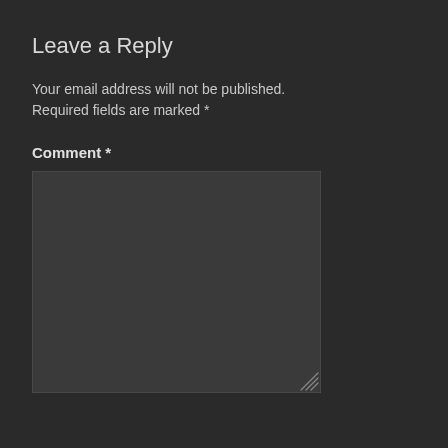Leave a Reply
Your email address will not be published. Required fields are marked *
Comment *
[Figure (other): A large empty comment textarea input box with a dark background and border, with a resize handle in the bottom-right corner]